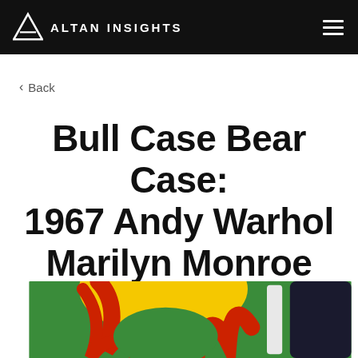ALTAN INSIGHTS
< Back
Bull Case Bear Case: 1967 Andy Warhol Marilyn Monroe Print
[Figure (photo): Colorful Andy Warhol Marilyn Monroe print with green, yellow, and red colors, partially visible at bottom of page]